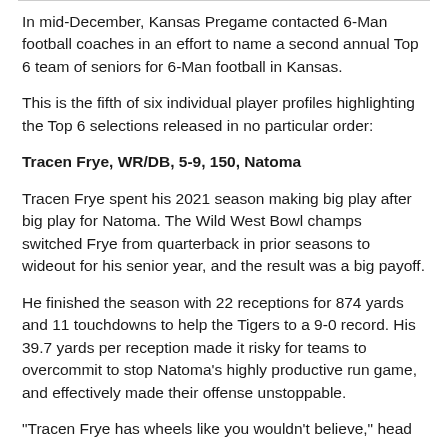In mid-December, Kansas Pregame contacted 6-Man football coaches in an effort to name a second annual Top 6 team of seniors for 6-Man football in Kansas.
This is the fifth of six individual player profiles highlighting the Top 6 selections released in no particular order:
Tracen Frye, WR/DB, 5-9, 150, Natoma
Tracen Frye spent his 2021 season making big play after big play for Natoma. The Wild West Bowl champs switched Frye from quarterback in prior seasons to wideout for his senior year, and the result was a big payoff.
He finished the season with 22 receptions for 874 yards and 11 touchdowns to help the Tigers to a 9-0 record. His 39.7 yards per reception made it risky for teams to overcommit to stop Natoma's highly productive run game, and effectively made their offense unstoppable.
"Tracen Frye has wheels like you wouldn't believe," head